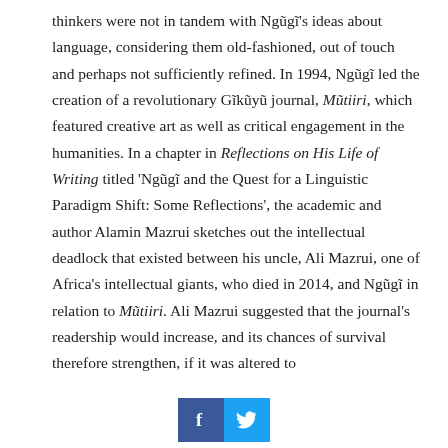thinkers were not in tandem with Ngũgĩ's ideas about language, considering them old-fashioned, out of touch and perhaps not sufficiently refined. In 1994, Ngũgĩ led the creation of a revolutionary Gĩkũyũ journal, Mũtiiri, which featured creative art as well as critical engagement in the humanities. In a chapter in Reflections on His Life of Writing titled 'Ngũgĩ and the Quest for a Linguistic Paradigm Shift: Some Reflections', the academic and author Alamin Mazrui sketches out the intellectual deadlock that existed between his uncle, Ali Mazrui, one of Africa's intellectual giants, who died in 2014, and Ngũgĩ in relation to Mũtiiri. Ali Mazrui suggested that the journal's readership would increase, and its chances of survival therefore strengthen, if it was altered to
[Figure (other): Social sharing buttons: Facebook (blue with f icon) and Twitter (light blue with bird icon)]